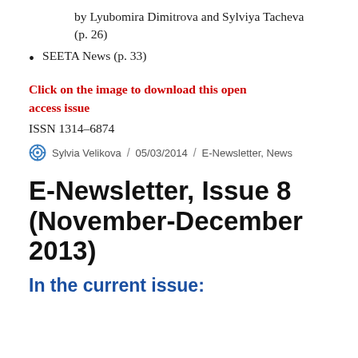by Lyubomira Dimitrova and Sylviya Tacheva (p. 26)
SEETA News (p. 33)
Click on the image to download this open access issue
ISSN 1314-6874
Sylvia Velikova / 05/03/2014 / E-Newsletter, News
E-Newsletter, Issue 8 (November-December 2013)
In the current issue: